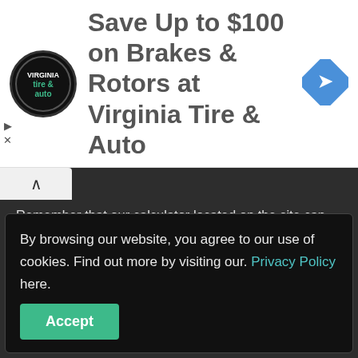[Figure (advertisement): Ad banner for Virginia Tire & Auto: circular logo on black background, headline 'Save Up to $100 on Brakes & Rotors at Virginia Tire & Auto', blue diamond navigation icon on the right.]
Remember that our calculator located on the site can sometimes show the wrong results. It is important to use the converter twice or even more to get the exact result. The Kg to Lbs conversion calculator is based on formulas which is not errorless. We do not take the responsibility for errors caused by converter.
Privacy
Contact
By browsing our website, you agree to our use of cookies. Find out more by visiting our. Privacy Policy here.